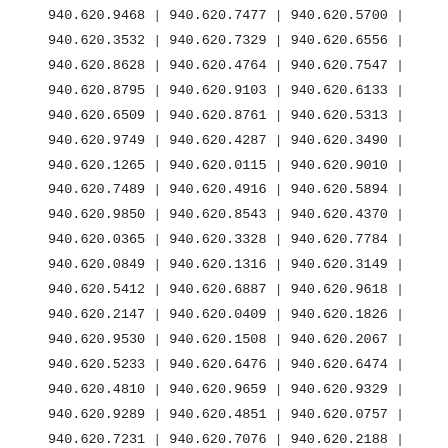| 940.620.9468 | | | 940.620.7477 | | | 940.620.5700 | | |
| 940.620.3532 | | | 940.620.7329 | | | 940.620.6556 | | |
| 940.620.8628 | | | 940.620.4764 | | | 940.620.7547 | | |
| 940.620.8795 | | | 940.620.9103 | | | 940.620.6133 | | |
| 940.620.6509 | | | 940.620.8761 | | | 940.620.5313 | | |
| 940.620.9749 | | | 940.620.4287 | | | 940.620.3490 | | |
| 940.620.1265 | | | 940.620.0115 | | | 940.620.9010 | | |
| 940.620.7489 | | | 940.620.4916 | | | 940.620.5894 | | |
| 940.620.9850 | | | 940.620.8543 | | | 940.620.4370 | | |
| 940.620.0365 | | | 940.620.3328 | | | 940.620.7784 | | |
| 940.620.0849 | | | 940.620.1316 | | | 940.620.3149 | | |
| 940.620.5412 | | | 940.620.6887 | | | 940.620.9618 | | |
| 940.620.2147 | | | 940.620.0409 | | | 940.620.1826 | | |
| 940.620.9530 | | | 940.620.1508 | | | 940.620.2067 | | |
| 940.620.5233 | | | 940.620.6476 | | | 940.620.6474 | | |
| 940.620.4810 | | | 940.620.9659 | | | 940.620.9329 | | |
| 940.620.9289 | | | 940.620.4851 | | | 940.620.0757 | | |
| 940.620.7231 | | | 940.620.7076 | | | 940.620.2188 | | |
| 940.620.4610 | | | 940.620.9770 | | | 940.620.9599 | | |